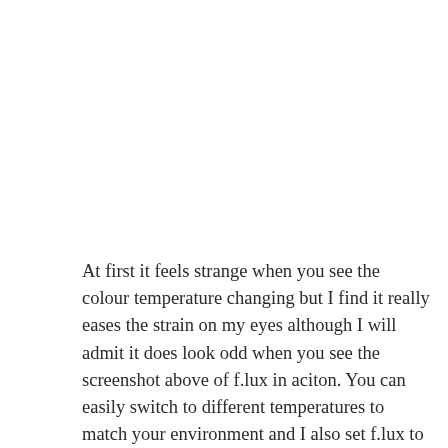At first it feels strange when you see the colour temperature changing but I find it really eases the strain on my eyes although I will admit it does look odd when you see the screenshot above of f.lux in aciton. You can easily switch to different temperatures to match your environment and I also set f.lux to dim gradually over an hour. Makes a big difference to the effectiveness in my opinion. Finally there is an option to temporarily disable f.lux to allow you to work on any graphics or